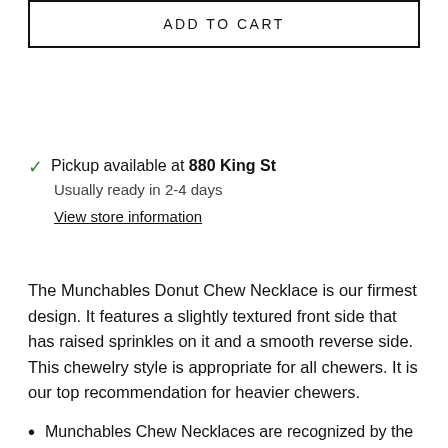ADD TO CART
Pickup available at 880 King St
Usually ready in 2-4 days
View store information
The Munchables Donut Chew Necklace is our firmest design. It features a slightly textured front side that has raised sprinkles on it and a smooth reverse side. This chewelry style is appropriate for all chewers. It is our top recommendation for heavier chewers.
Munchables Chew Necklaces are recognized by the Canadian Association of Occupational